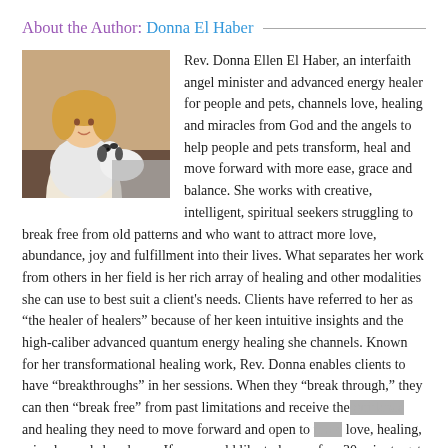About the Author: Donna El Haber
[Figure (photo): Photo of Donna El Haber with a dog]
Rev. Donna Ellen El Haber, an interfaith angel minister and advanced energy healer for people and pets, channels love, healing and miracles from God and the angels to help people and pets transform, heal and move forward with more ease, grace and balance. She works with creative, intelligent, spiritual seekers struggling to break free from old patterns and who want to attract more love, abundance, joy and fulfillment into their lives. What separates her work from others in her field is her rich array of healing and other modalities she can use to best suit a client's needs. Clients have referred to her as “the healer of healers” because of her keen intuitive insights and the high-caliber advanced quantum energy healing she channels. Known for her transformational healing work, Rev. Donna enables clients to have “breakthroughs” in her sessions. When they “break through,” they can then “break free” from past limitations and receive the guidance and healing they need to move forward and open to more love, healing, miracles and abundance. If you would like to have a free 30-minute get-acquainted phone session, you can